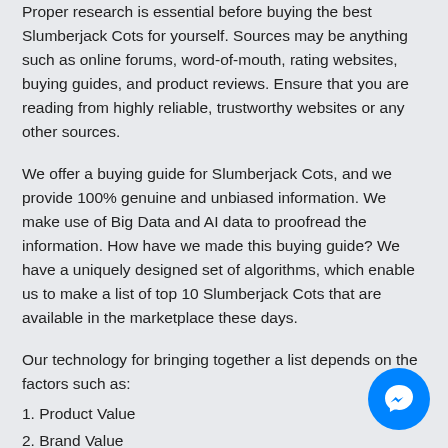Proper research is essential before buying the best Slumberjack Cots for yourself. Sources may be anything such as online forums, word-of-mouth, rating websites, buying guides, and product reviews. Ensure that you are reading from highly reliable, trustworthy websites or any other sources.
We offer a buying guide for Slumberjack Cots, and we provide 100% genuine and unbiased information. We make use of Big Data and AI data to proofread the information. How have we made this buying guide? We have a uniquely designed set of algorithms, which enable us to make a list of top 10 Slumberjack Cots that are available in the marketplace these days.
Our technology for bringing together a list depends on the factors such as:
1. Product Value
2. Brand Value
3. Features & Specifications
4. Quality and Durability